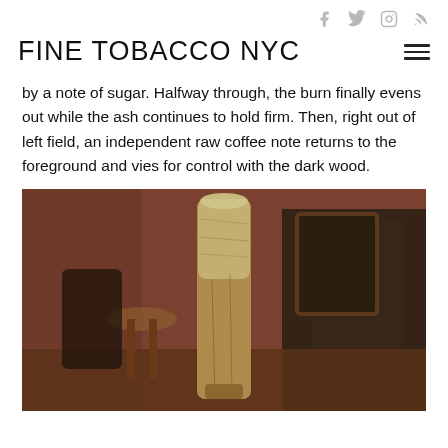Social icons: Facebook, Twitter, Instagram, RSS
FINE TOBACCO NYC
by a note of sugar. Halfway through, the burn finally evens out while the ash continues to hold firm. Then, right out of left field, an independent raw coffee note returns to the foreground and vies for control with the dark wood.
[Figure (photo): Close-up photo of a cigar with ash, set against a blurred background of a lounge interior with wooden furniture and reddish-orange walls.]